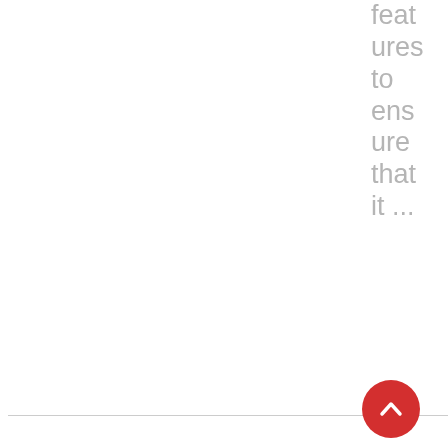features to ensure that it ...
[Figure (photo): Circular thumbnail photo of a person working on a laptop, viewed from above/side angle]
Data Quality Challenges and How To Overcome